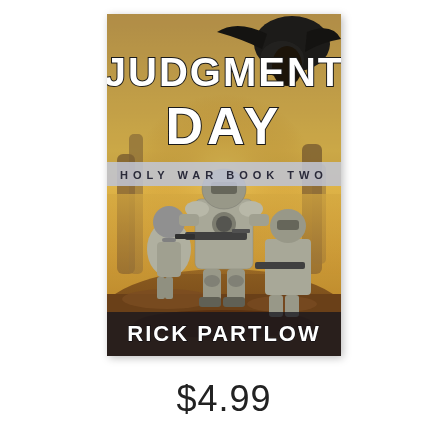[Figure (illustration): Book cover for 'Judgment Day: Holy War Book Two' by Rick Partlow. Shows armored soldiers in space/sci-fi gear marching through a rocky desert landscape with a yellow/orange sky and dark alien creature silhouette in the upper corner. Large stylized text reads 'JUDGMENT DAY' at the top with 'HOLY WAR BOOK TWO' as subtitle and 'RICK PARTLOW' at the bottom.]
$4.99